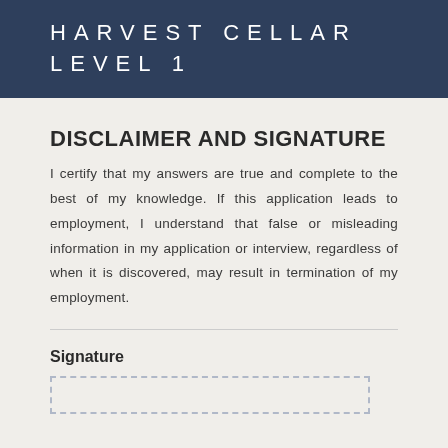HARVEST CELLAR
LEVEL 1
DISCLAIMER AND SIGNATURE
I certify that my answers are true and complete to the best of my knowledge. If this application leads to employment, I understand that false or misleading information in my application or interview, regardless of when it is discovered, may result in termination of my employment.
Signature